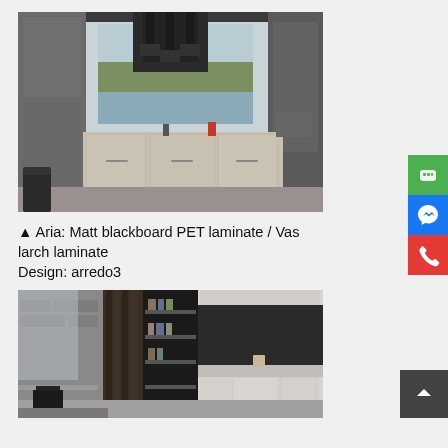[Figure (photo): Modern kitchen interior with dark grey cabinets, a large island with light wood finish, pendant lights, and a view of trees and water through large windows. Stools visible in the foreground.]
▲ Aria: Matt blackboard PET laminate / Vas larch laminate Design: arredo3
[Figure (photo): Modern kitchen/living area with dark wood panel partition, open shelving unit, light grey handleless cabinets, dark backsplash, and a dining table with chair in the foreground.]